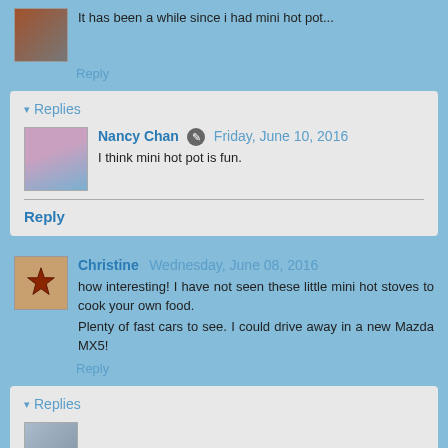It has been a while since i had mini hot pot...
Reply
▾ Replies
Nancy Chan  Friday, June 10, 2016
I think mini hot pot is fun.
Reply
Christine  Wednesday, June 08, 2016
how interesting! I have not seen these little mini hot stoves to cook your own food.
Plenty of fast cars to see. I could drive away in a new Mazda MX5!
Reply
▾ Replies